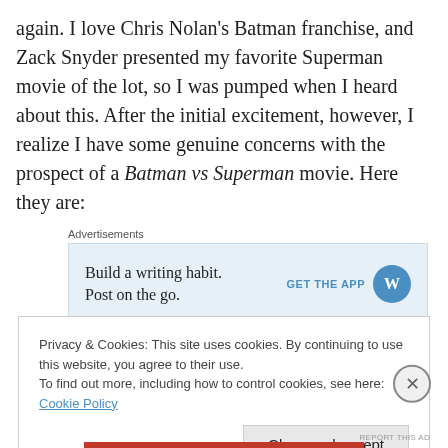again. I love Chris Nolan's Batman franchise, and Zack Snyder presented my favorite Superman movie of the lot, so I was pumped when I heard about this. After the initial excitement, however, I realize I have some genuine concerns with the prospect of a Batman vs Superman movie. Here they are:
Advertisements
[Figure (other): WordPress app advertisement: 'Build a writing habit. Post on the go.' with GET THE APP button and WordPress logo]
REPORT THIS AD
Privacy & Cookies: This site uses cookies. By continuing to use this website, you agree to their use.
To find out more, including how to control cookies, see here: Cookie Policy